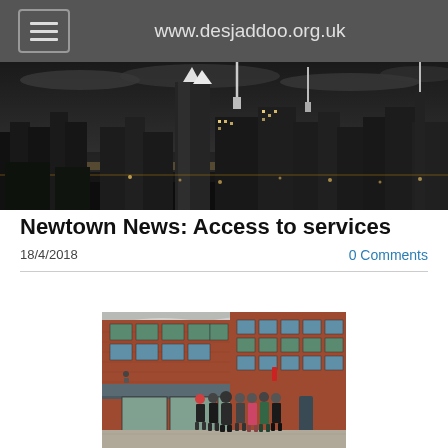www.desjaddoo.org.uk
[Figure (photo): Black and white panoramic cityscape at night with illuminated skyscrapers and towers against a cloudy sky]
Newtown News: Access to services
18/4/2018
0 Comments
[Figure (photo): People queuing outside a red brick building entrance with large windows and a canopy overhang]